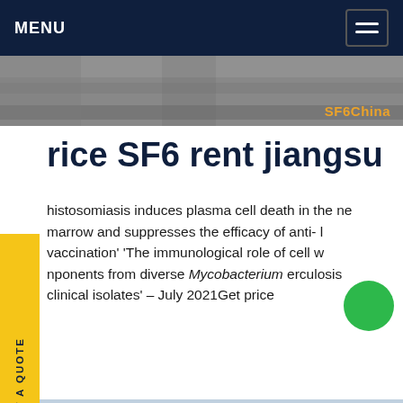MENU
[Figure (photo): Top banner image showing gravel/road surface with SF6China logo in orange on the right side]
rice SF6 rent jiangsu
histosomiasis induces plasma cell death in the ne marrow and suppresses the efficacy of anti- l vaccination' 'The immunological role of cell w nponents from diverse Mycobacterium erculosis clinical isolates' - July 2021Get price
[Figure (photo): Electrical power substation with transmission towers and high voltage equipment]